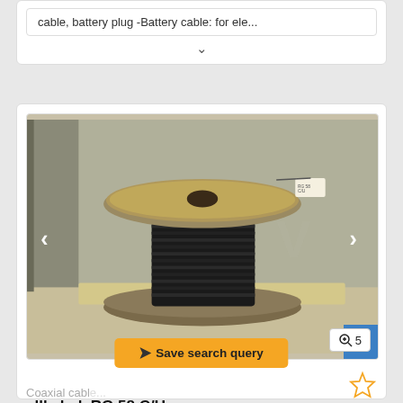cable, battery plug -Battery cable: for ele...
[Figure (photo): A spool of black coaxial cable (RG 58 C/U) sitting on a wooden surface in what appears to be a warehouse or storage room. The spool has a wooden top and base with black cable wound around the center spindle.]
Coaxial cabl...
allkabel  RG 58 C/U